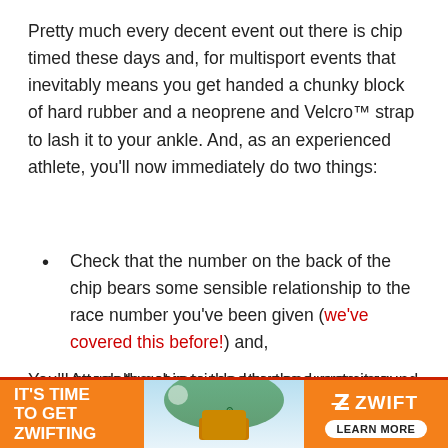Pretty much every decent event out there is chip timed these days and, for multisport events that inevitably means you get handed a chunky block of hard rubber and a neoprene and Velcro™ strap to lash it to your ankle. And, as an experienced athlete, you'll now immediately do two things:
Check that the number on the back of the chip bears some sensible relationship to the race number you've been given (we've covered this before!) and,
Attach the chip to the strap and wrap it round your left ankle.
You'll normally get reminded by the event crew that it
[Figure (infographic): Orange advertisement banner for Zwift featuring bold white text 'IT'S TIME TO GET ZWIFTING' on the left, a landscape photo in the middle, and Zwift logo with 'LEARN MORE' button on the right.]